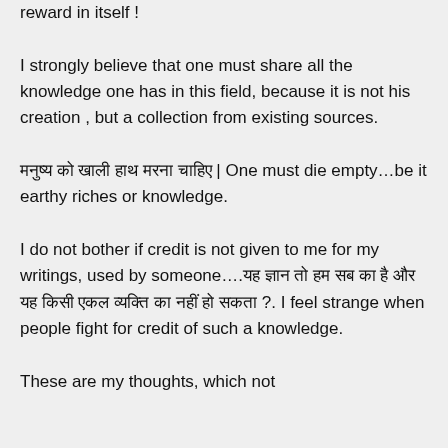reward in itself !
I strongly believe that one must share all the knowledge one has in this field, because it is not his creation , but a collection from existing sources.
मनुष्य को खाली हाथ मरना चाहिए | One must die empty…be it earthy riches or knowledge.
I do not bother if credit is not given to me for my writings, used by someone….यह ज्ञान तो हम सब का है और यह किसी एकल व्यक्ति का नहीं हो सकता ?. I feel strange when people fight for credit of such a knowledge.
These are my thoughts, which not
Advertisements
[Figure (other): DuckDuckGo advertisement banner: orange left section with text 'Search, browse, and email with more privacy. All in One Free App', dark right section with DuckDuckGo logo and brand name.]